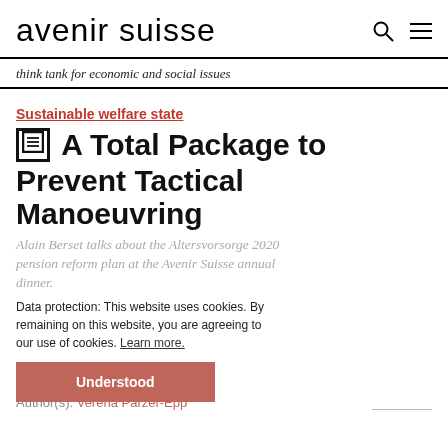avenir suisse
think tank for economic and social issues
Sustainable welfare state
A Total Package to Prevent Tactical Manoeuvring
Alain Berset talks about the Altersvorsorge 2020 pension reform plan at the Avenir Suisse annual dinner.
Data protection: This website uses cookies. By remaining on this website, you are agreeing to our use of cookies. Learn more.
Understood
Blog
Date: 02.04.2014
Author(s): Verena Parzer-Epp